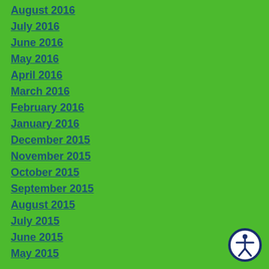August 2016
July 2016
June 2016
May 2016
April 2016
March 2016
February 2016
January 2016
December 2015
November 2015
October 2015
September 2015
August 2015
July 2015
June 2015
May 2015
[Figure (illustration): Accessibility icon: white circle with dark blue border containing a white stick figure person with arms outstretched]